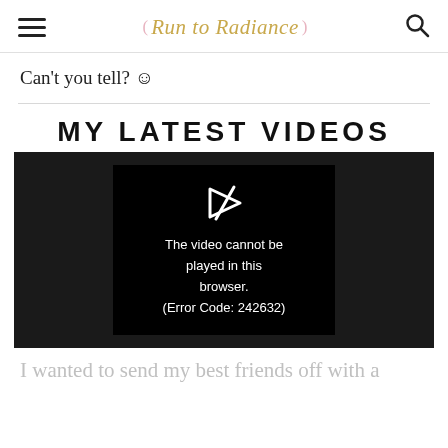Run to Radiance
Can't you tell? ☺
MY LATEST VIDEOS
[Figure (screenshot): Video player showing error: 'The video cannot be played in this browser. (Error Code: 242632)']
I wanted to send my best friends off with a